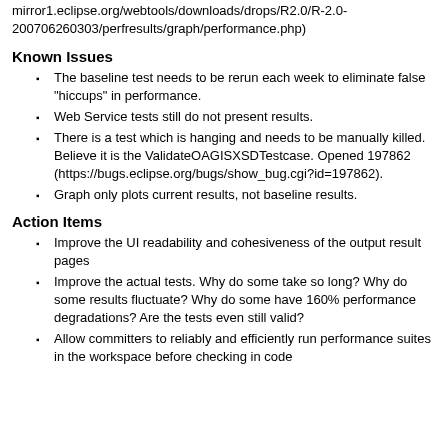mirror1.eclipse.org/webtools/downloads/drops/R2.0/R-2.0-200706260303/perfresults/graph/performance.php)
Known Issues
The baseline test needs to be rerun each week to eliminate false "hiccups" in performance.
Web Service tests still do not present results.
There is a test which is hanging and needs to be manually killed. Believe it is the ValidateOAGISXSDTestcase. Opened 197862 (https://bugs.eclipse.org/bugs/show_bug.cgi?id=197862).
Graph only plots current results, not baseline results.
Action Items
Improve the UI readability and cohesiveness of the output result pages
Improve the actual tests. Why do some take so long? Why do some results fluctuate? Why do some have 160% performance degradations? Are the tests even still valid?
Allow committers to reliably and efficiently run performance suites in the workspace before checking in code